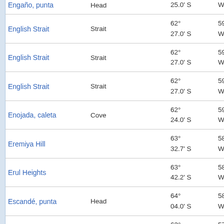| Name | Type |  | Latitude | Longitude |  |
| --- | --- | --- | --- | --- | --- |
| Engaño, punta | Head |  | 25.0' S | W | at |
| English Strait | Strait |  | 62° 27.0' S | 59° 38.0' W | 10 at |
| English Strait | Strait |  | 62° 27.0' S | 59° 37.0' W | 10 at |
| English Strait | Strait |  | 62° 27.0' S | 59° 38.0' W | 10 at |
| Enojada, caleta | Cove |  | 62° 24.0' S | 59° 38.0' W | 11 at |
| Eremiya Hill |  |  | 63° 32.7' S | 58° 37.8' W | 25 at |
| Erul Heights |  |  | 63° 42.2' S | 58° 21.2' W | 45 at |
| Escandé, punta | Head |  | 64° 04.0' S | 58° 24.0' W | 83 at |
| Eten, Rada ... | Bay |  | 63° | 57° 59.0' | 33 |